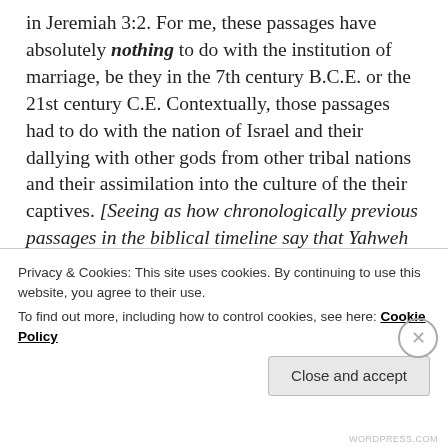in Jeremiah 3:2. For me, these passages have absolutely nothing to do with the institution of marriage, be they in the 7th century B.C.E. or the 21st century C.E. Contextually, those passages had to do with the nation of Israel and their dallying with other gods from other tribal nations and their assimilation into the culture of the their captives. [Seeing as how chronologically previous passages in the biblical timeline say that Yahweh "delivered them into captivity' {one helluva phrase right?} how does someone get mad when the oppressed assimilate into the culture of the oppressor–but that's another blog post.] This
Privacy & Cookies: This site uses cookies. By continuing to use this website, you agree to their use.
To find out more, including how to control cookies, see here: Cookie Policy
Close and accept